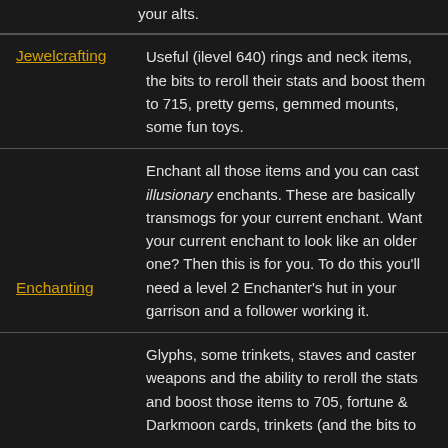your alts.
Jewelcrafting: Useful (ilevel 640) rings and neck items, the bits to reroll their stats and boost them to 715, pretty gems, gemmed mounts, some fun toys.
Enchanting: Enchant all those items and you can cast illusionary enchants. These are basically transmogs for your current enchant. Want your current enchant to look like an older one? Then this is for you. To do this you'll need a level 2 Enchanter's hut in your garrison and a follower working it.
Inscription: Glyphs, some trinkets, staves and caster weapons and the ability to reroll the stats and boost those items to 705, fortune & Darkmoon cards, trinkets (and the bits to ...